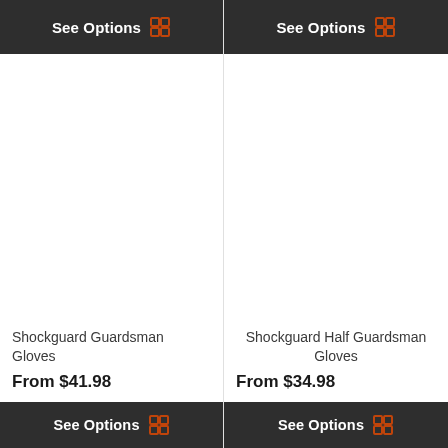See Options
[Figure (photo): Product image area for Shockguard Guardsman Gloves (blank/white)]
Shockguard Guardsman Gloves
From $41.98
See Options
See Options
[Figure (photo): Product image area for Shockguard Half Guardsman Gloves (blank/white)]
Shockguard Half Guardsman Gloves
From $34.98
See Options